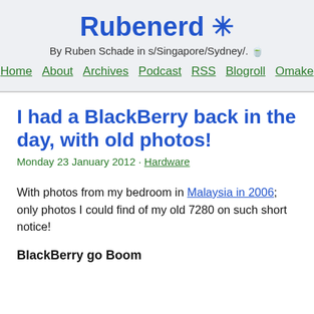Rubenerd ✳ By Ruben Schade in s/Singapore/Sydney/. 🍵
I had a BlackBerry back in the day, with old photos!
Monday 23 January 2012 · Hardware
With photos from my bedroom in Malaysia in 2006; only photos I could find of my old 7280 on such short notice!
BlackBerry go Boom